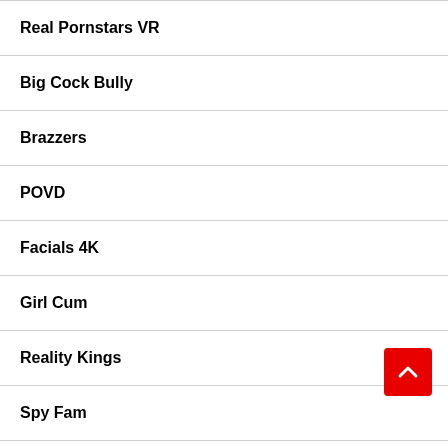Real Pornstars VR
Big Cock Bully
Brazzers
POVD
Facials 4K
Girl Cum
Reality Kings
Spy Fam
BBC Pie